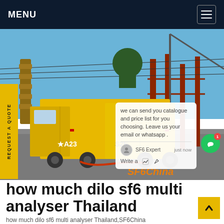MENU
[Figure (photo): Industrial scene with yellow SF6 service trucks (marked A23 and S2E) at an electrical substation with high-voltage equipment, cranes, and power lines in the background. A chat popup overlay is visible on the right side.]
how much dilo sf6 multi analyser Thailand
how much dilo sf6 multi analyser Thailand,SF6China